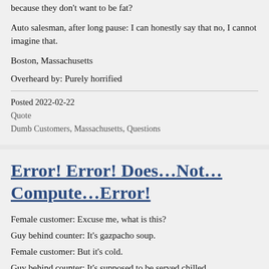because they don't want to be fat?
Auto salesman, after long pause: I can honestly say that no, I cannot imagine that.
Boston, Massachusetts
Overheard by: Purely horrified
Posted 2022-02-22
Quote
Dumb Customers, Massachusetts, Questions
Error! Error! Does…Not…Compute…Error!
Female customer: Excuse me, what is this?
Guy behind counter: It's gazpacho soup.
Female customer: But it's cold.
Guy behind counter: It's supposed to be served chilled.
Female customer: But you said it was soup.